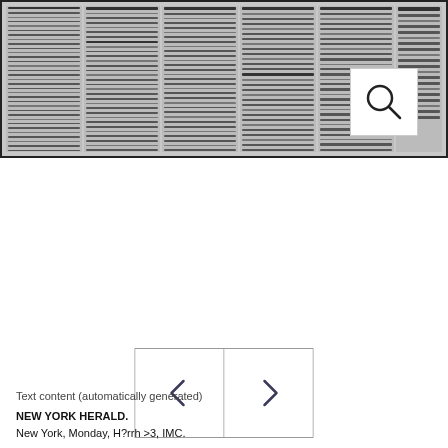[Figure (photo): Scanned newspaper page showing multiple columns of dense text, with a magnifying glass icon overlay in the upper right corner]
[Figure (other): Navigation buttons with left and right angle bracket arrows for browsing pages]
Text content (automatically generated)
NEW YORK HERALD.
New York, Monday, H?rrh >3, IMC.